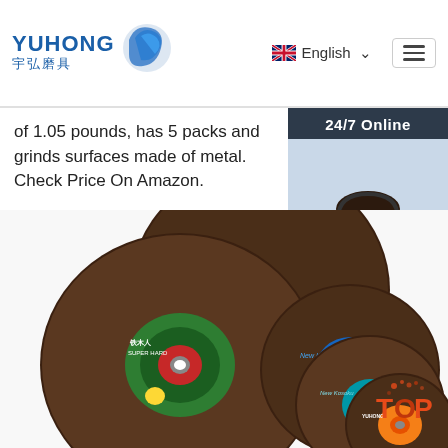YUHONG 宇弘磨具 | English | Menu
of 1.05 pounds, has 5 packs and grinds surfaces made of metal. Check Price On Amazon.
Get Price
24/7 Online
[Figure (photo): Customer service agent woman with headset smiling]
Click here for free chat !
QUOTATION
[Figure (photo): Multiple grinding discs/cutting wheels stacked together, various brands including New Kosoku, YUHONG, with green, blue, red and brown colored centers]
[Figure (logo): TOP badge logo in orange/red]